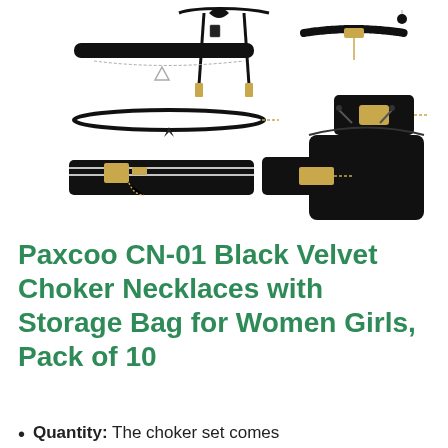[Figure (photo): Product photo showing 10 black velvet choker necklaces in various styles arranged on white background, along with a black Paxcoo branded drawstring storage bag]
Paxcoo CN-01 Black Velvet Choker Necklaces with Storage Bag for Women Girls, Pack of 10
Quantity: The choker set comes